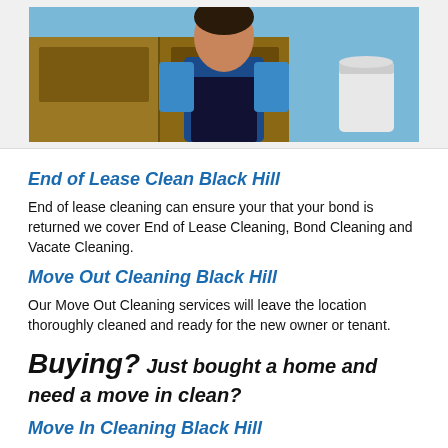[Figure (photo): Cleaning worker in blue uniform and dark apron standing in front of wooden cabinets and a white bucket]
End of Lease Clean Black Hill
End of lease cleaning can ensure your that your bond is returned we cover End of Lease Cleaning, Bond Cleaning and Vacate Cleaning.
Move Out Cleaning Black Hill
Our Move Out Cleaning services will leave the location thoroughly cleaned and ready for the new owner or tenant.
Buying? Just bought a home and need a move in clean?
Move In Cleaning Black Hill
We can help make your new home, apartment or office a clean, sanitised, and